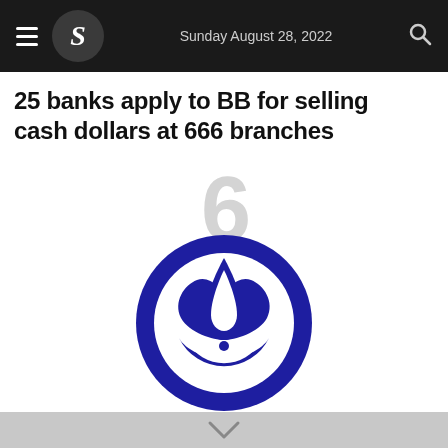Sunday August 28, 2022
25 banks apply to BB for selling cash dollars at 666 branches
6
[Figure (logo): Jiban Bima Corporation circular logo in dark navy/blue with stylized flame/leaf design, with Bengali text below reading জীবন বীমা কর্পোরেশন]